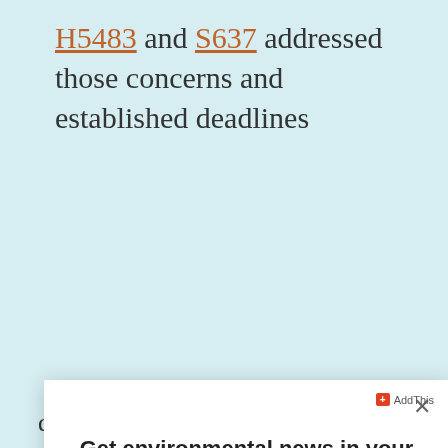H5483 and S637 addressed those concerns and established deadlines for the...
[Figure (screenshot): Modal newsletter signup popup with title 'Get environmental news in your inbox every Tuesday', email input field, and orange Subscribe button with a close X button in top right corner and AddThis badge in bottom right.]
died in committee after opposition